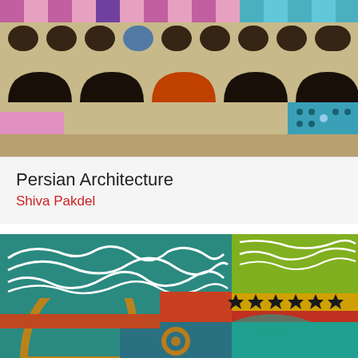[Figure (photo): Persian architectural facade with arched doorways, decorative tile mosaics in pink, teal, and gold geometric patterns, and ornate stonework.]
Persian Architecture
Shiva Pakdel
[Figure (photo): Close-up of colorful Persian Islamic tile and painted decoration showing Arabic calligraphy in white on teal background, geometric patterns in vivid yellow, red, green, and orange tile work.]